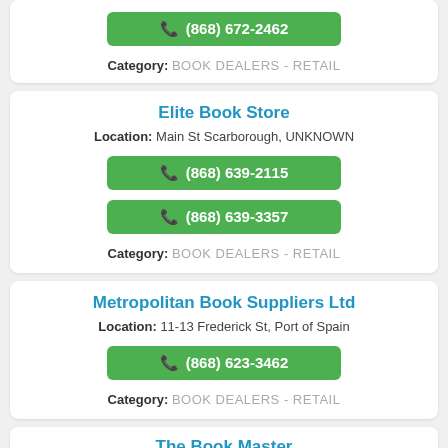(868) 672-2462 | Category: BOOK DEALERS - RETAIL
Elite Book Store
Location: Main St Scarborough, UNKNOWN
(868) 639-2115
(868) 639-3357
Category: BOOK DEALERS - RETAIL
Metropolitan Book Suppliers Ltd
Location: 11-13 Frederick St, Port of Spain
(868) 623-3462
Category: BOOK DEALERS - RETAIL
The Book Master
Location: 37 Frederick St, Port of Spain